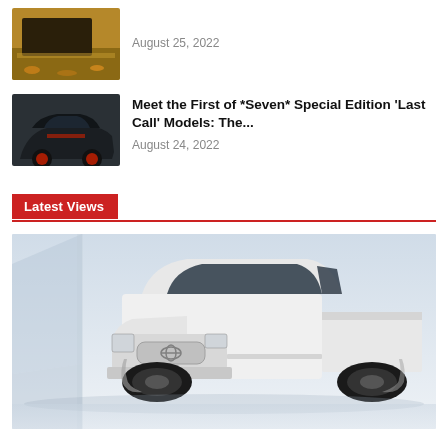[Figure (photo): Thumbnail of a vehicle on autumn leaves background]
August 25, 2022
[Figure (photo): Thumbnail of a dark Dodge Challenger special edition car]
Meet the First of *Seven* Special Edition 'Last Call' Models: The...
August 24, 2022
Latest Views
[Figure (photo): White Toyota pickup truck (Tacoma or similar) on a light grey background, shown from the front-right angle]